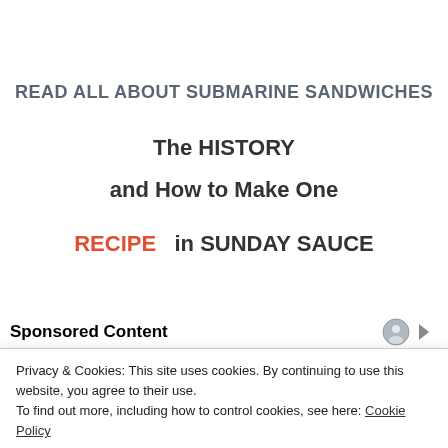READ ALL ABOUT SUBMARINE SANDWICHES
The HISTORY
and How to Make One
RECIPE   in SUNDAY SAUCE
Sponsored Content
Privacy & Cookies: This site uses cookies. By continuing to use this website, you agree to their use. To find out more, including how to control cookies, see here: Cookie Policy
Close and accept